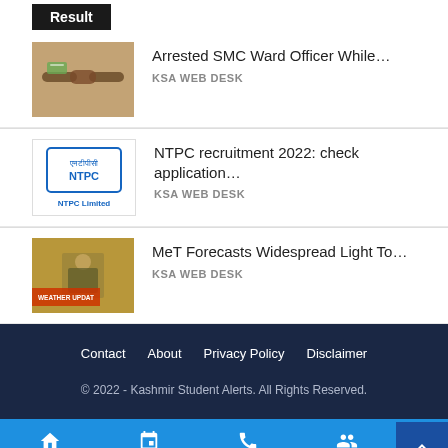Result
[Figure (photo): Two people shaking hands, money visible]
Arrested SMC Ward Officer While…
KSA WEB DESK
[Figure (logo): NTPC Limited logo with Hindi text]
NTPC recruitment 2022: check application…
KSA WEB DESK
[Figure (photo): Weather update thumbnail showing man at desk with weather update graphic overlay]
MeT Forecasts Widespread Light To…
KSA WEB DESK
Contact   About   Privacy Policy   Disclaimer
© 2022 - Kashmir Student Alerts. All Rights Reserved.
Home   Install App   Join WhatsApp   Join Tel…